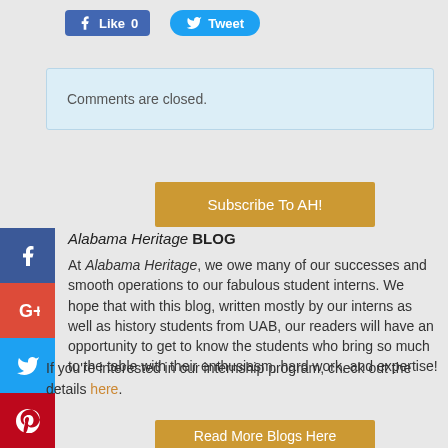[Figure (screenshot): Facebook Like button showing count 0 and Twitter Tweet button]
Comments are closed.
Subscribe To AH!
[Figure (other): Social media sidebar icons: Facebook, Google+, Twitter, Pinterest, YouTube, Instagram]
Alabama Heritage BLOG
At Alabama Heritage, we owe many of our successes and smooth operations to our fabulous student interns. We hope that with this blog, written mostly by our interns as well as history students from UAB, our readers will have an opportunity to get to know the students who bring so much to the table with their enthusiasm, hard work, and expertise!
If you're interested in our internship program, check out the details here.
Read More Blogs Here